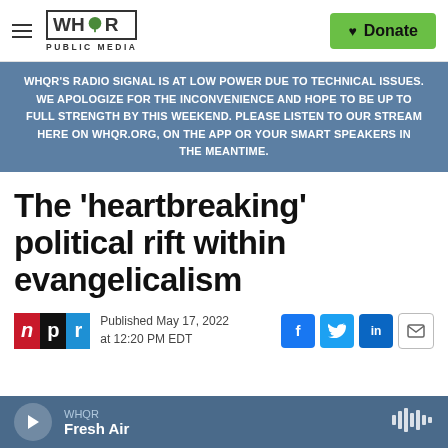WHQR PUBLIC MEDIA
WHQR'S RADIO SIGNAL IS AT LOW POWER DUE TO TECHNICAL ISSUES. WE APOLOGIZE FOR THE INCONVENIENCE AND HOPE TO BE UP TO FULL STRENGTH BY THIS WEEKEND. PLEASE LISTEN TO OUR STREAM HERE ON WHQR.ORG, ON THE APP OR YOUR SMART SPEAKERS IN THE MEANTIME.
The 'heartbreaking' political rift within evangelicalism
Published May 17, 2022 at 12:20 PM EDT
WHQR Fresh Air